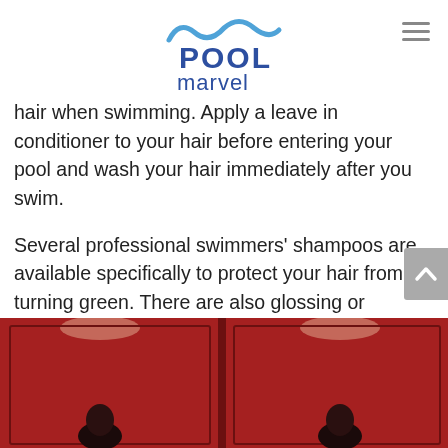Pool Marvel
hair when swimming. Apply a leave in conditioner to your hair before entering your pool and wash your hair immediately after you swim.
Several professional swimmers' shampoos are available specifically to protect your hair from turning green. There are also glossing or sealing treatments available at hair salons that seal hair cuticles, preventing copper from attaching and turning it green. Hot oil treatments on hair are another option.
[Figure (photo): Photo strip showing two people in what appears to be a changing room or locker area with red/brown cabinetry and overhead lighting]